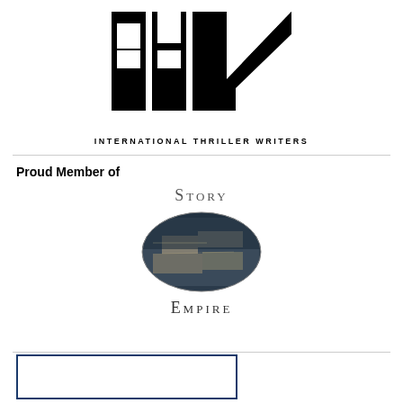[Figure (logo): ITW International Thriller Writers logo — large stylized black letters 'itw' with geometric cutouts, and 'INTERNATIONAL THRILLER WRITERS' in spaced capital letters below]
Proud Member of
[Figure (logo): Story Empire logo — 'STORY' in spaced serif small-caps above an oval image of stone/cobblestone texture, with 'EMPIRE' in spaced serif small-caps below]
[Figure (other): Partial blue-bordered rectangle at bottom of page, content cut off]